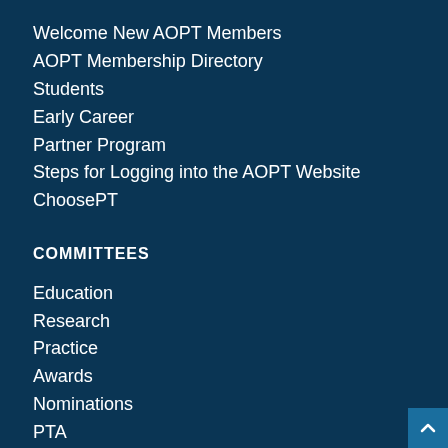Welcome New AOPT Members
AOPT Membership Directory
Students
Early Career
Partner Program
Steps for Logging into the AOPT Website
ChoosePT
COMMITTEES
Education
Research
Practice
Awards
Nominations
PTA
SPECIAL INTEREST GROUPS